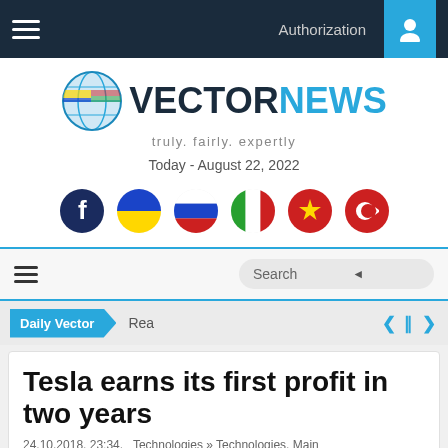Authorization
[Figure (logo): VectorNews logo with globe icon and tagline: truly. fairly. expertly]
Today - August 22, 2022
[Figure (infographic): Row of social media and language flag icons: Facebook, Ukraine, Russia, Italy, China, Turkey]
Search
Daily Vector  Rea
Tesla earns its first profit in two years
24.10.2018, 23:34.  Technologies » Technologies, Main